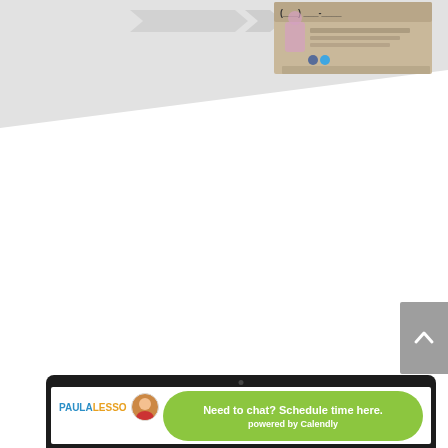[Figure (screenshot): Top portion of a webpage showing a diagonal grey banner area with a desk nameplate/card design featuring a photo and contact number, and an arrow shape pointing right.]
[Figure (screenshot): White blank middle area of the webpage.]
[Figure (screenshot): Grey back-to-top button with upward chevron arrow on the right side.]
[Figure (screenshot): Bottom portion showing a laptop screen with Paula Lesso logo and a green Calendly scheduling chat bubble reading 'Need to chat? Schedule time here.' and 'powered by Calendly'.]
Need to chat? Schedule time here.
powered by Calendly